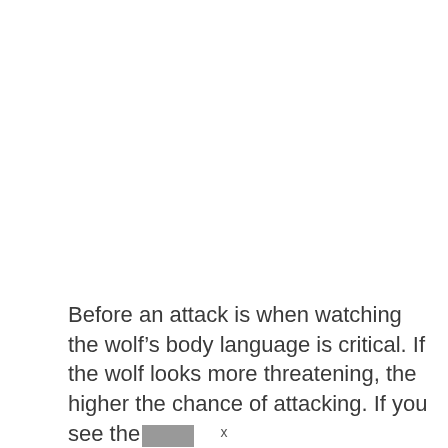Before an attack is when watching the wolf's body language is critical. If the wolf looks more threatening, the higher the chance of attacking. If you see the [redacted]
x